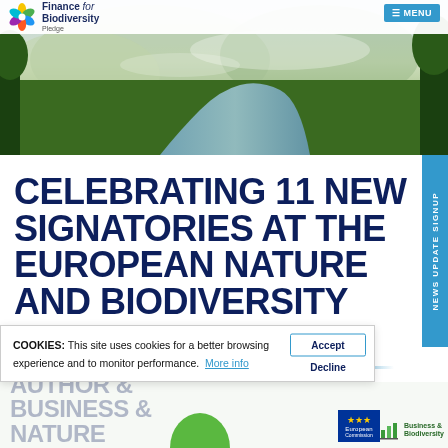Finance for Biodiversity Pledge | MENU
[Figure (photo): Aerial view of a tropical river winding through dense rainforest with misty mountains in the background]
CELEBRATING 11 NEW SIGNATORIES AT THE EUROPEAN NATURE AND BIODIVERSITY SUMMIT
COOKIES: This site uses cookies for a better browsing experience and to monitor performance. More info
NEWS UPDATE SIGNUP
[Figure (logo): European Commission logo and Business & Biodiversity logo at bottom of page]